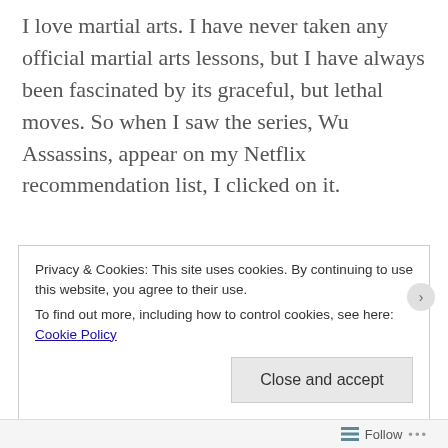I love martial arts. I have never taken any official martial arts lessons, but I have always been fascinated by its graceful, but lethal moves. So when I saw the series, Wu Assassins, appear on my Netflix recommendation list, I clicked on it.
[Figure (other): Broken image placeholder icon (small image with green corner indicator)]
First of all, I discovered that many of the scene…
Privacy & Cookies: This site uses cookies. By continuing to use this website, you agree to their use.
To find out more, including how to control cookies, see here: Cookie Policy
Close and accept
Follow